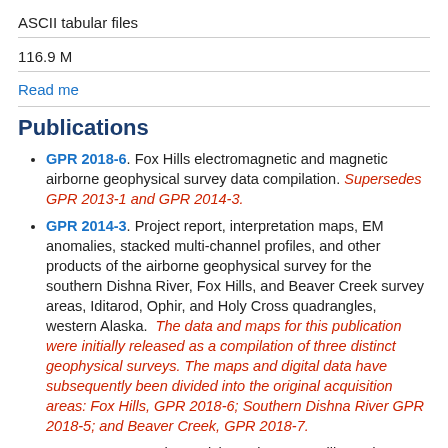ASCII tabular files
116.9 M
Read me
Publications
GPR 2018-6. Fox Hills electromagnetic and magnetic airborne geophysical survey data compilation. Supersedes GPR 2013-1 and GPR 2014-3.
GPR 2014-3. Project report, interpretation maps, EM anomalies, stacked multi-channel profiles, and other products of the airborne geophysical survey for the southern Dishna River, Fox Hills, and Beaver Creek survey areas, Iditarod, Ophir, and Holy Cross quadrangles, western Alaska. The data and maps for this publication were initially released as a compilation of three distinct geophysical surveys. The maps and digital data have subsequently been divided into the original acquisition areas: Fox Hills, GPR 2018-6; Southern Dishna River GPR 2018-5; and Beaver Creek, GPR 2018-7.
GPR 2013-1. Southern Dishna River, Fox Hills, and Beaver Creek survey areas: Airborne Magnetic and